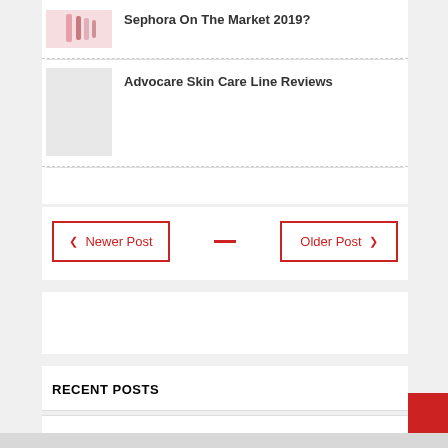[Figure (photo): Thumbnail image of makeup/beauty products (partial, cropped at top)]
Sephora On The Market 2019?
[Figure (photo): Blank/light gray thumbnail image for Advocare Skin Care Line Reviews]
Advocare Skin Care Line Reviews
Newer Post
Older Post
RECENT POSTS